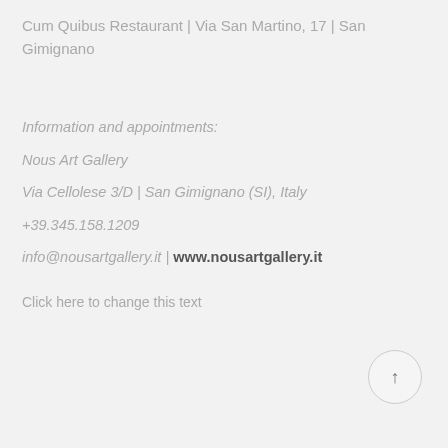Cum Quibus Restaurant | Via San Martino, 17 | San Gimignano
Information and appointments:
Nous Art Gallery
Via Cellolese 3/D  |  San Gimignano (SI), Italy
+39.345.158.1209
info@nousartgallery.it  |  www.nousartgallery.it
Click here to change this text